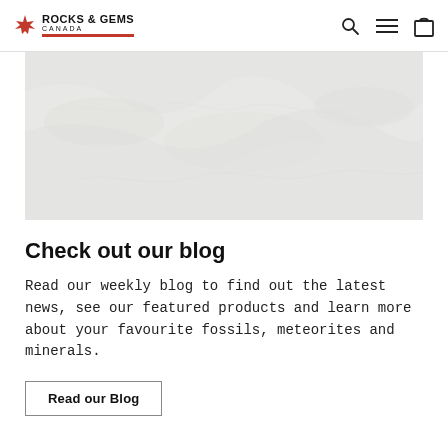ROCKS & GEMS CANADA
[Figure (photo): Faded light grey fossil/mineral rock texture photograph serving as hero banner image]
Check out our blog
Read our weekly blog to find out the latest news, see our featured products and learn more about your favourite fossils, meteorites and minerals.
Read our Blog